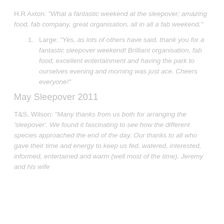H.R Axton: "What a fantastic weekend at the sleepover; amazing food, fab company, great organisation, all in all a fab weekend."
Large: "Yes, as lots of others have said, thank you for a fantastic sleepover weekend! Brilliant organisation, fab food, excellent entertainment and having the park to ourselves evening and morning was just ace. Cheers everyone!"
May Sleepover 2011
T&S. Wilson: "Many thanks from us both for arranging the 'sleepover'. We found it fascinating to see how the different species approached the end of the day. Our thanks to all who gave their time and energy to keep us fed, watered, interested, informed, entertained and warm (well most of the time). Jeremy and his wife